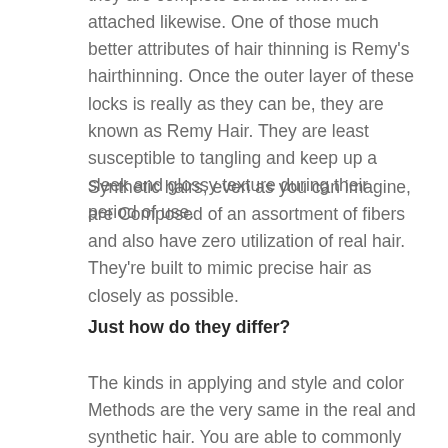they are complete strands which are attached likewise. One of those much better attributes of hair thinning is Remy's hairthinning. Once the outer layer of these locks is really as they can be, they are known as Remy Hair. They are least susceptible to tangling and keep up a sleek and glossy texture during their period of use.
Synthetic hairs, even as you can imagine, are Composed of an assortment of fibers and also have zero utilization of real hair. They're built to mimic precise hair as closely as possible.
Just how do they differ?
The kinds in applying and style and color Methods are the very same in the real and synthetic hair. You are able to commonly differentiate among artificial